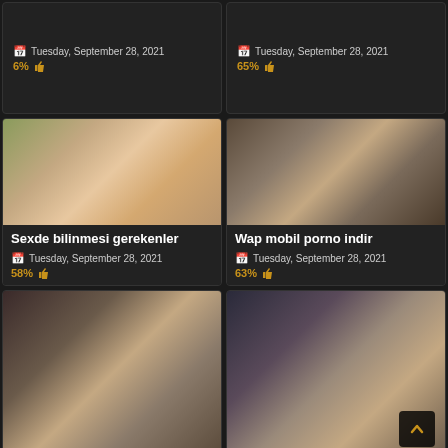Tuesday, September 28, 2021 6%
Tuesday, September 28, 2021 65%
[Figure (photo): Adult content thumbnail - blonde woman and explicit image]
Sexde bilinmesi gerekenler
Tuesday, September 28, 2021 58%
[Figure (photo): Adult content thumbnail - explicit image]
Wap mobil porno indir
Tuesday, September 28, 2021 63%
[Figure (photo): Adult content thumbnail - explicit image]
[Figure (photo): Adult content thumbnail - explicit image with scroll-to-top button]